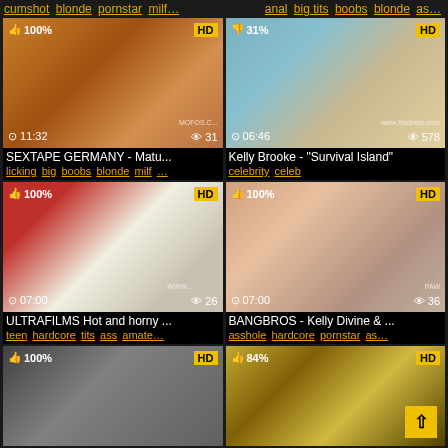cumshot blonde pornstar milf... | anal big tits boobs blonde as...
[Figure (screenshot): Video thumbnail 1 - 100% rating, HD, duration 11:32, 31 views, MOFOS watermark]
SEXTAPE GERMANY - Matu...
licking big boobs blonde milf ...
[Figure (screenshot): Video thumbnail 2 - 31% rating, HD, duration 06:46, 578 views, www.Xactress.com watermark]
Kelly Brooke - "Survival Island"
celebrity celeb
[Figure (screenshot): Video thumbnail 3 - 100% rating, HD, duration 07:00, 26 views, ULTRAFILMS]
ULTRAFILMS Hot and horny ...
teen hardcore tits ass amate...
[Figure (screenshot): Video thumbnail 4 - 100% rating, HD, duration 07:00, 36 views, PAW watermark]
BANGBROS - Kelly Divine & ...
asshole hardcore pornstar as...
[Figure (screenshot): Video thumbnail 5 - 100% rating, HD, partial view]
[Figure (screenshot): Video thumbnail 6 - 84% rating, HD, partial view with back-to-top button]